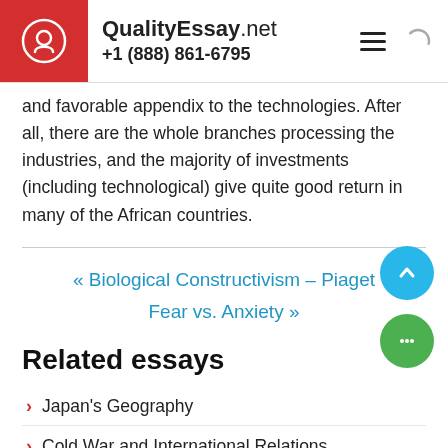QualityEssay.net +1 (888) 861-6795
and favorable appendix to the technologies. After all, there are the whole branches processing the industries, and the majority of investments (including technological) give quite good return in many of the African countries.
« Biological Constructivism – Piaget
Fear vs. Anxiety »
Related essays
Japan's Geography
Cold War and International Relations
Nietzsche and Marx on Problem of Human Nature